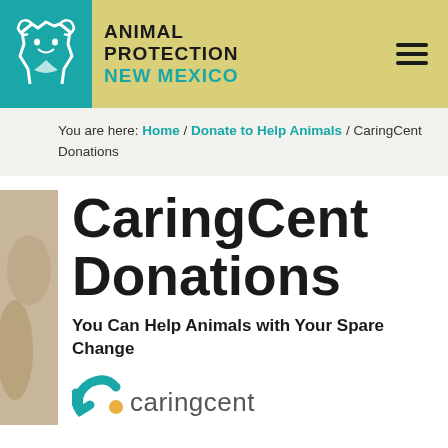ANIMAL PROTECTION NEW MEXICO
You are here: Home / Donate to Help Animals / CaringCent Donations
CaringCent Donations
You Can Help Animals with Your Spare Change
[Figure (logo): CaringCent logo — teal curved arrow icon with orange accent, text 'caringcent' in gray]